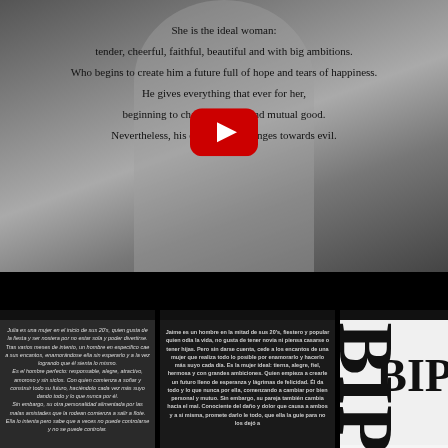[Figure (screenshot): Video screenshot with grayscale silhouette background and YouTube play button overlay. Text overlaid on video reads a poem about an ideal woman and a man who changes.]
She is the ideal woman: tender, cheerful, faithful, beautiful and with big ambitions. Who begins to create him a future full of hope and tears of happiness. He gives everything that ever for her, beginning to change for self and mutual good. Nevertheless, his couple also changes towards evil.
Julia es una mujer en el inicio de sus 20's, quien gusta de la fiesta y ser nostera por no estar sola y poder divertirse. Tras varios meses de intento, un hombre en especifico cae a sus encantos, enamorándose ella sin esperarlo y a la vez logrando que él sienta lo mismo. Es el hombre perfecto: responsable, alegre, atractivo, amoroso y sin siclos. Con quien comienza a soñar y construir todo su futuro, haciéndolo cada vez más suyo dando todo y lo que nunca por él. Sin embargo, su otra personalidad alimentada por las malas amistades que la rodean comienza a salir a flote. Ella lo intenta pero sabe que a veces no puede controlarse, y no se puede controlar.
Jaime es un hombre en la mitad de sus 20's, fiestero y popular quien odia la vida, no gusta de tener novia ni piensa casarse o tener hijas. Pero sin darse cuenta, cede a los encantos de una mujer que realiza todo lo posible por enamorarlo y hacerlo más suyo cada día. Es la mujer ideal: tierna, alegre, fiel, hermosa y con grandes ambiciones. Quien empieza a crearle un futuro lleno de esperanza y lágrimas de felicidad. Él da todo y lo que nunca por ella, comenzando a cambiar por bien personal y mutuo. Sin embargo, su pareja también cambia hacia el mal. Conociente del daño y dolor que causa a ambos y a si misma, promete darlo le todo, que ella la guíe para no los dejó a
[Figure (text-as-image): Large bold text 'BIPOLA' displayed vertically and partially, in black serif font on white background, cropped by the page edge.]